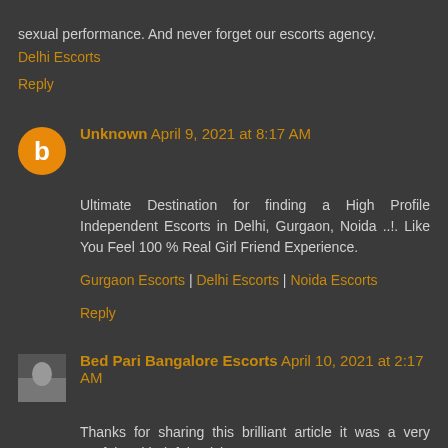sexual performance. And never forget our escorts agency.
Delhi Escorts
Reply
Unknown April 9, 2021 at 8:17 AM
Ultimate Destination for finding a High Profile Independent Escorts in Delhi, Gurgaon, Noida ..!. Like You Feel 100 % Real Girl Friend Experience.
Gurgaon Escorts | Delhi Escorts | Noida Escorts
Reply
Bed Pari Bangalore Escorts April 10, 2021 at 2:17 AM
Thanks for sharing this brilliant article it was a very useful and helpful article.
vijaynagar escorts
domlur escorts